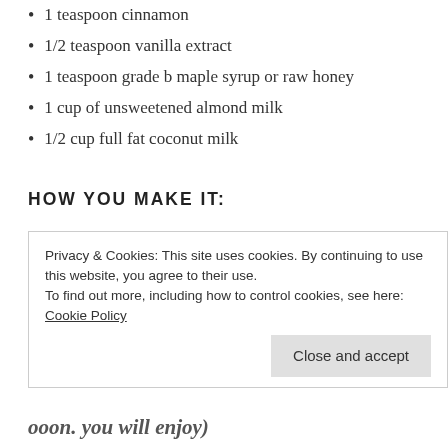1 teaspoon cinnamon
1/2 teaspoon vanilla extract
1 teaspoon grade b maple syrup or raw honey
1 cup of unsweetened almond milk
1/2 cup full fat coconut milk
HOW YOU MAKE IT:
Bring your almond and coconut milk to a gentle simmer.
Whisk in your cacao and spices.
Let simmer for about 4 minutes until gently frothy.
Privacy & Cookies: This site uses cookies. By continuing to use this website, you agree to their use. To find out more, including how to control cookies, see here: Cookie Policy
Close and accept